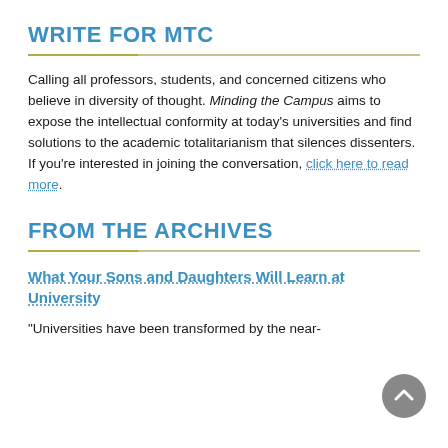WRITE FOR MTC
Calling all professors, students, and concerned citizens who believe in diversity of thought. Minding the Campus aims to expose the intellectual conformity at today's universities and find solutions to the academic totalitarianism that silences dissenters. If you're interested in joining the conversation, click here to read more.
FROM THE ARCHIVES
What Your Sons and Daughters Will Learn at University
"Universities have been transformed by the near-